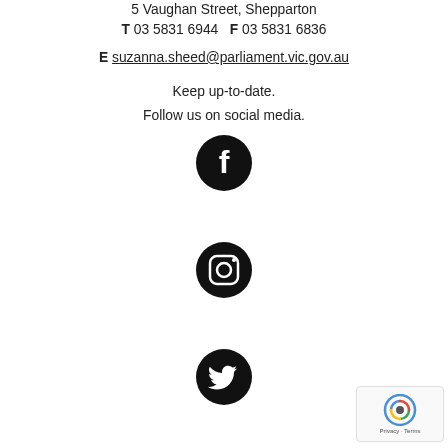5 Vaughan Street, Shepparton
T 03 5831 6944   F 03 5831 6836
E suzanna.sheed@parliament.vic.gov.au
Keep up-to-date.
Follow us on social media.
[Figure (logo): Facebook logo — white 'f' on black circle]
[Figure (logo): Instagram logo — white camera icon on black circle]
[Figure (logo): Twitter logo — white bird icon on black circle]
[Figure (logo): reCAPTCHA badge with Privacy and Terms text]